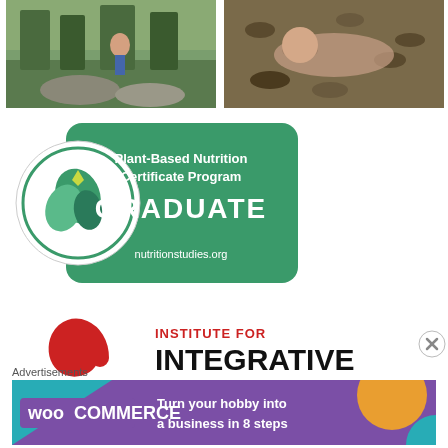[Figure (photo): Two photos side by side: left shows a person hiking/sitting on rocks with forest below, right shows a person lying among fallen leaves in nature]
[Figure (logo): Plant-Based Nutrition Certificate Program GRADUATE badge - green rounded rectangle with circular leaf logo on left, text: Plant-Based Nutrition Certificate Program GRADUATE nutritionlearstudies.org]
[Figure (logo): Institute for Integrative Nutrition logo - red spiral swirl on left, text: INSTITUTE FOR INTEGRATIVE NUTRITION in bold black]
Advertisements
[Figure (illustration): WooCommerce advertisement banner - purple background with WooCommerce logo and geometric shapes, text: Turn your hobby into a business in 8 steps]